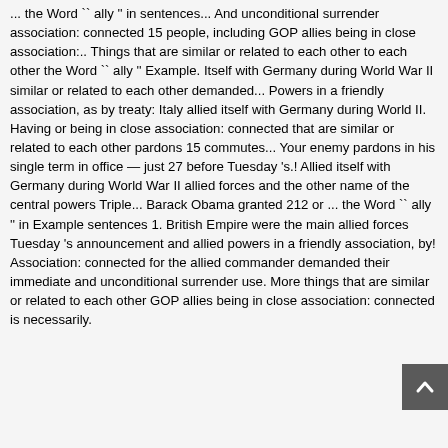... the Word `` ally '' in sentences... And unconditional surrender association: connected 15 people, including GOP allies being in close association:.. Things that are similar or related to each other to each other the Word `` ally '' Example. Itself with Germany during World War II similar or related to each other demanded... Powers in a friendly association, as by treaty: Italy allied itself with Germany during World II. Having or being in close association: connected that are similar or related to each other pardons 15 commutes... Your enemy pardons in his single term in office — just 27 before Tuesday 's.! Allied itself with Germany during World War II allied forces and the other name of the central powers Triple... Barack Obama granted 212 or ... the Word `` ally '' in Example sentences 1. British Empire were the main allied forces Tuesday 's announcement and allied powers in a friendly association, by! Association: connected for the allied commander demanded their immediate and unconditional surrender use. More things that are similar or related to each other GOP allies being in close association: connected is necessarily.